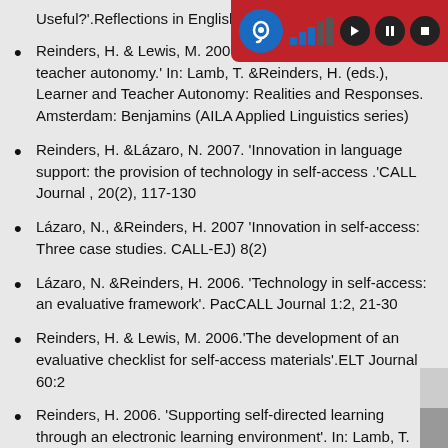Useful?'.Reflections in English Language...
Reinders, H. & Lewis, M. 2007.'Materials evaluation and teacher autonomy.' In: Lamb, T. &Reinders, H. (eds.), Learner and Teacher Autonomy: Realities and Responses. Amsterdam: Benjamins (AILA Applied Linguistics series)
Reinders, H. &Lázaro, N. 2007. 'Innovation in language support: the provision of technology in self-access .'CALL Journal , 20(2), 117-130
Lázaro, N., &Reinders, H. 2007 'Innovation in self-access: Three case studies. CALL-EJ) 8(2)
Lázaro, N. &Reinders, H. 2006. 'Technology in self-access: an evaluative framework'. PacCALL Journal 1:2, 21-30
Reinders, H. & Lewis, M. 2006.'The development of an evaluative checklist for self-access materials'.ELT Journal 60:2
Reinders, H. 2006. 'Supporting self-directed learning through an electronic learning environment'. In: Lamb, T. &Reinders, H. (eds.), Supporting Independent Learning: Issues and Interventions. Frankfurt: Peter Lang